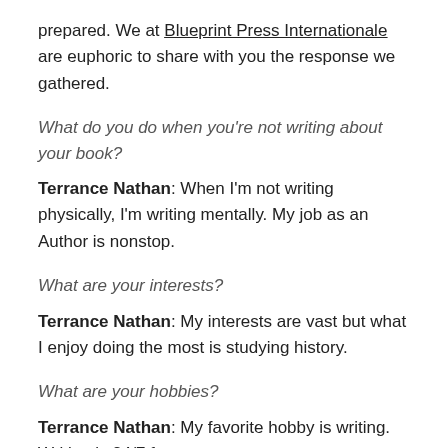prepared. We at Blueprint Press Internationale are euphoric to share with you the response we gathered.
What do you do when you're not writing about your book?
Terrance Nathan: When I'm not writing physically, I'm writing mentally. My job as an Author is nonstop.
What are your interests?
Terrance Nathan: My interests are vast but what I enjoy doing the most is studying history.
What are your hobbies?
Terrance Nathan: My favorite hobby is writing. Writing is 24/7 for me.
Who do you want to reach/what are your primary...